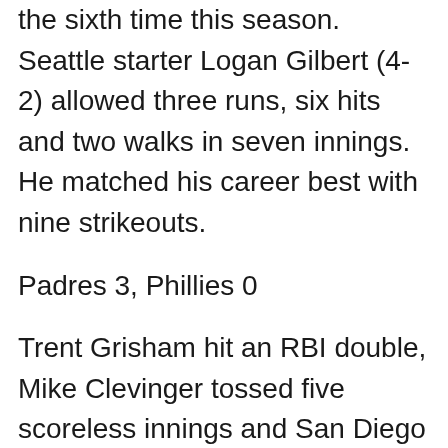the sixth time this season. Seattle starter Logan Gilbert (4-2) allowed three runs, six hits and two walks in seven innings. He matched his career best with nine strikeouts.
Padres 3, Phillies 0
Trent Grisham hit an RBI double, Mike Clevinger tossed five scoreless innings and San Diego defeated host Philadelphia.
Robinson Cano added two hits for the Padres. Clevinger (1-0) gave up just one hit to go along with five strikeouts and no walks. Taylor Rogers threw a scoreless